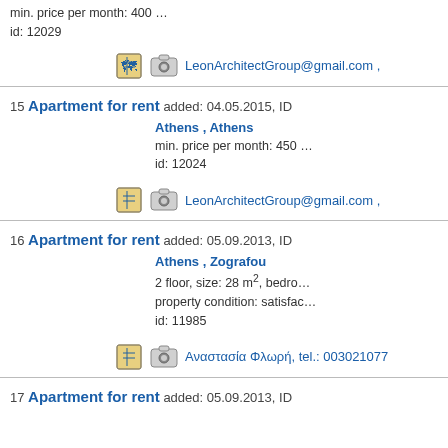min. price per month: 400
id: 12029
[Figure (other): Map icon and camera icon followed by contact email LeonArchitectGroup@gmail.com ,]
15 Apartment for rent  added: 04.05.2015, ID
Athens , Athens
min. price per month: 450
id: 12024
[Figure (other): Map icon and camera icon followed by contact email LeonArchitectGroup@gmail.com ,]
16 Apartment for rent  added: 05.09.2013, ID
Athens , Zografou
2 floor, size: 28 m2, bedro...
property condition: satisfac...
id: 11985
[Figure (other): Map icon and camera icon followed by contact Αναστασία Φλωρή, tel.: 003021077]
17 Apartment for rent  added: 05.09.2013, ID